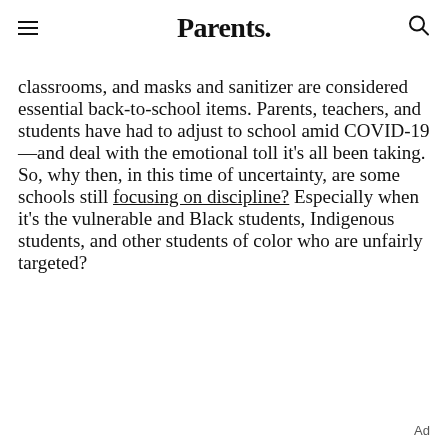Parents.
classrooms, and masks and sanitizer are considered essential back-to-school items. Parents, teachers, and students have had to adjust to school amid COVID-19—and deal with the emotional toll it's all been taking. So, why then, in this time of uncertainty, are some schools still focusing on discipline? Especially when it's the vulnerable and Black students, Indigenous students, and other students of color who are unfairly targeted?
Ad